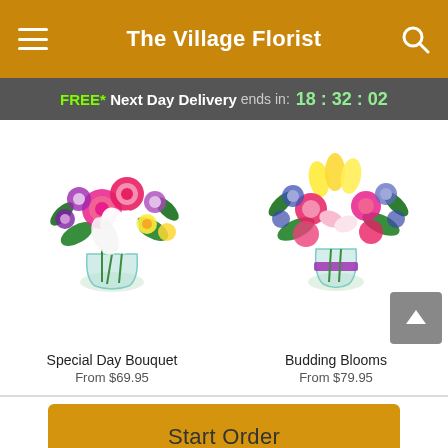The Village Florist
FREE* Next Day Delivery ends in: 18:32:02
[Figure (photo): Bouquet with pink roses, white lilies, purple alstroemeria, and yellow flowers in a glass vase]
[Figure (photo): Colorful bouquet with yellow tulips, pink carnations, purple statice, and mixed flowers in a glass vase with purple ribbon]
Special Day Bouquet
From $69.95
Budding Blooms
From $79.95
Start Order